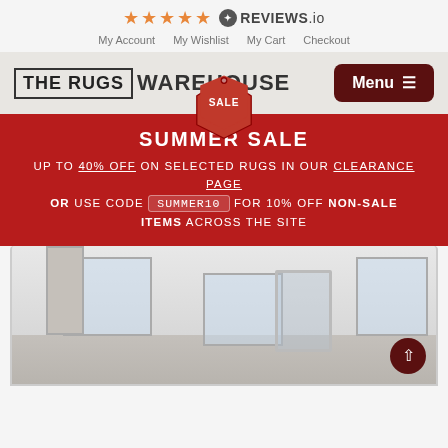[Figure (logo): Five orange stars and Reviews.io badge]
My Account  My Wishlist  My Cart  Checkout
[Figure (logo): THE RUGS WAREHOUSE logo with sale tag and Menu button]
SUMMER SALE
UP TO 40% OFF ON SELECTED RUGS IN OUR CLEARANCE PAGE
OR USE CODE SUMMER10 FOR 10% OFF NON-SALE ITEMS ACROSS THE SITE
[Figure (photo): Interior room photo showing a bright white room with windows, a mirror, and minimal furniture]